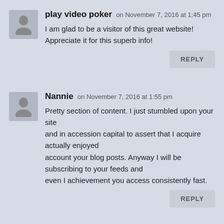play video poker on November 7, 2016 at 1:45 pm
I am glad to be a visitor of this great website! Appreciate it for this superb info!
REPLY
Nannie on November 7, 2016 at 1:55 pm
Pretty section of content. I just stumbled upon your site and in accession capital to assert that I acquire actually enjoyed account your blog posts. Anyway I will be subscribing to your feeds and even I achievement you access consistently fast.
REPLY